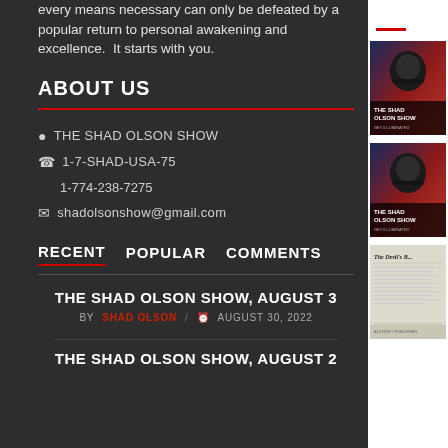every means necessary can only be defeated by a popular return to personal awakening and excellence.  It starts with you.
ABOUT US
📍 THE SHAD OLSON SHOW
📞 1-7-SHAD-USA-75
1-774-238-7275
✉ shadolsonshow@gmail.com
RECENT   POPULAR   COMMENTS
THE SHAD OLSON SHOW, AUGUST 3
BY SHAD OLSON / ⏰ AUGUST 30, 2022
THE SHAD OLSON SHOW, AUGUST 2
[Figure (photo): The Shad Olson Show thumbnail with American flag and man in sunglasses]
[Figure (photo): The Shad Olson Show thumbnail with American flag and man in sunglasses (second)]
[Figure (photo): Document image - The Devil's book or similar document]